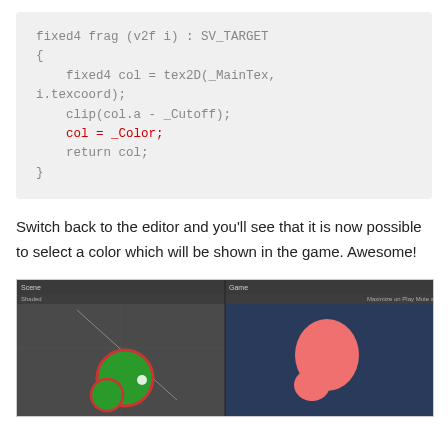[Figure (screenshot): Code block showing HLSL shader fragment function with fixed4 frag (v2f i) : SV_TARGET, including col = _Color; highlighted in red]
Switch back to the editor and you'll see that it is now possible to select a color which will be shown in the game. Awesome!
[Figure (screenshot): Unity editor screenshot split view showing Scene and Game panels with green circles on dark background (Scene) and pink/salmon blob shapes on blue background (Game)]